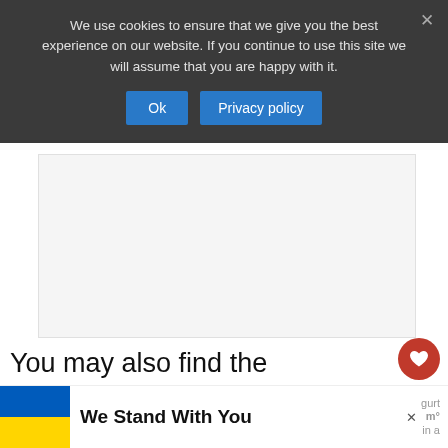We use cookies to ensure that we give you the best experience on our website. If you continue to use this site we will assume that you are happy with it.
[Figure (screenshot): Ad placeholder area (grey box)]
You may also find the zucchini flowers filled with fresh herbs and rice. It makes for an excellent light sum dish and a must-have in your table as a
[Figure (screenshot): What's Next widget with thumbnail and text: 'The Best Restaurants ...']
[Figure (screenshot): Bottom banner with Ukraine flag and text 'We Stand With You', with Yogurt brand logo partially visible]